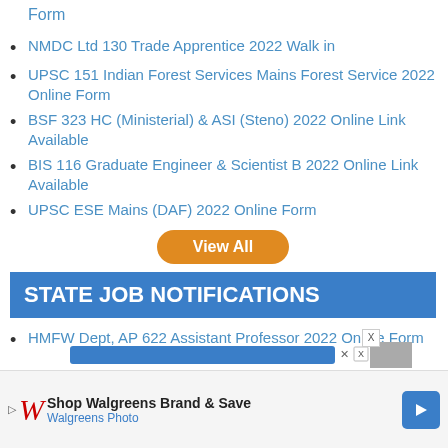Form
NMDC Ltd 130 Trade Apprentice 2022 Walk in
UPSC 151 Indian Forest Services Mains Forest Service 2022 Online Form
BSF 323 HC (Ministerial) & ASI (Steno) 2022 Online Link Available
BIS 116 Graduate Engineer & Scientist B 2022 Online Link Available
UPSC ESE Mains (DAF) 2022 Online Form
View All
STATE JOB NOTIFICATIONS
HMFW Dept, AP 622 Assistant Professor 2022 Online Form
[Figure (screenshot): Advertisement banner with blue progress/loading bar and close controls]
[Figure (photo): Walgreens advertisement: Shop Walgreens Brand & Save, Walgreens Photo, with Walgreens logo and blue arrow button]